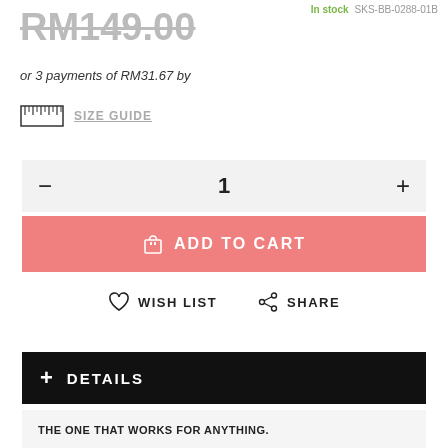RM149.00 (strikethrough)
In stock  SKS-BB-0288-01B
or 3 payments of RM31.67 by
[Figure (other): Ruler icon for size guide]
SIZE GUIDE
- 1 +
ADD TO CART
WISH LIST   SHARE
+ DETAILS
THE ONE THAT WORKS FOR ANYTHING.